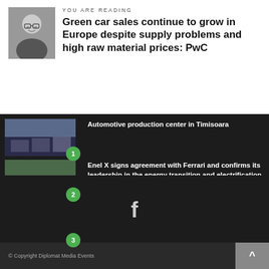YOU ARE READING
Green car sales continue to grow in Europe despite supply problems and high raw material prices: PwC
Automotive production center in Timisoara
Enel X signs agreement with Ferrari and confirms its leadership in the energy transition and electrification
Eurocell in final stages of discussions to build first European Gigafactory in the Netherlands
© Copyright Diplomat Media Events